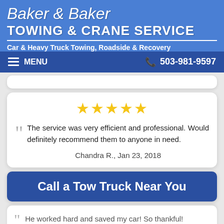Baker & Baker Towing & Crane Service
Car & Heavy Truck Towing, Roadside & Recovery
MENU  503-981-9597
The service was very efficient and professional. Would definitely recommend them to anyone in need.
Chandra R., Jan 23, 2018
Call a Tow Truck Near You
He worked hard and saved my car! So thankful!